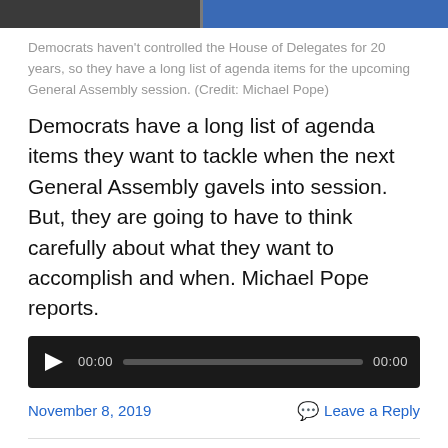[Figure (photo): Top strip showing people, partially cropped — two sections, one darker left section and one blue-toned right section.]
Democrats haven't controlled the House of Delegates for 20 years, so they have a long list of agenda items for the upcoming General Assembly session. (Credit: Michael Pope)
Democrats have a long list of agenda items they want to tackle when the next General Assembly gavels into session. But, they are going to have to think carefully about what they want to accomplish and when. Michael Pope reports.
[Figure (other): Audio player bar with play button, 00:00 timestamp, progress bar, and 00:00 end timestamp on dark background.]
November 8, 2019    Leave a Reply
Following a Big Night for Democrats, Some No...